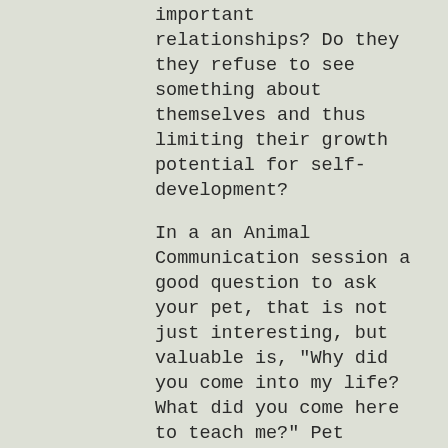important relationships? Do they they refuse to see something about themselves and thus limiting their growth potential for self-development?
In a an Animal Communication session a good question to ask your pet, that is not just interesting, but valuable is, "Why did you come into my life? What did you come here to teach me?" Pet parents call me when they want to help their pets, but what they don't realize is that their pet can help them! To schedule an Animal Communication session click here.